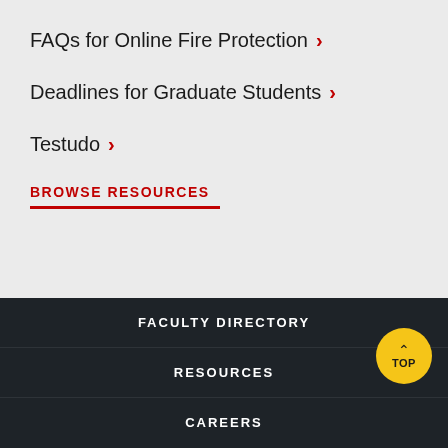FAQs for Online Fire Protection ›
Deadlines for Graduate Students ›
Testudo ›
BROWSE RESOURCES
FACULTY DIRECTORY
RESOURCES
CAREERS